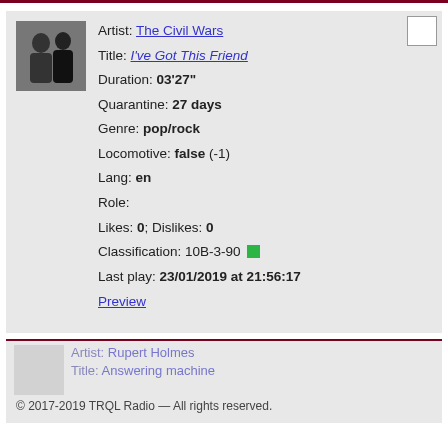Artist: The Civil Wars
Title: I've Got This Friend
Duration: 03'27"
Quarantine: 27 days
Genre: pop/rock
Locomotive: false (-1)
Lang: en
Role:
Likes: 0; Dislikes: 0
Classification: 10B-3-90
Last play: 23/01/2019 at 21:56:17
Preview
© 2017-2019 TRQL Radio — All rights reserved.